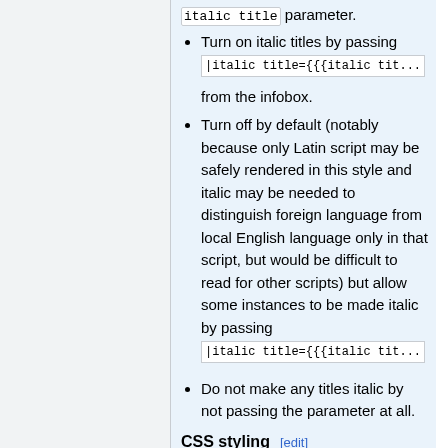italic title parameter.
Turn on italic titles by passing |italic title={{{italic title from the infobox.
Turn off by default (notably because only Latin script may be safely rendered in this style and italic may be needed to distinguish foreign language from local English language only in that script, but would be difficult to read for other scripts) but allow some instances to be made italic by passing |italic title={{{italic tit...
Do not make any titles italic by not passing the parameter at all.
CSS styling
bodystyle